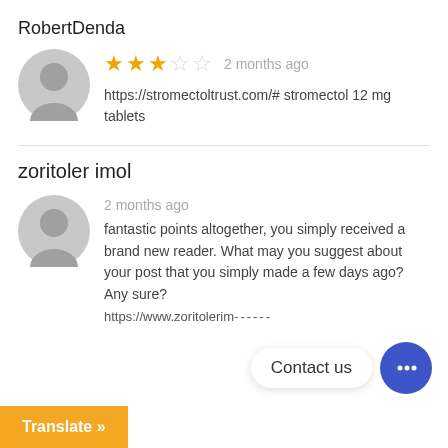RobertDenda
★★★☆☆  2 months ago
https://stromectoltrust.com/# stromectol 12 mg tablets
zoritoler imol
2 months ago
fantastic points altogether, you simply received a brand new reader. What may you suggest about your post that you simply made a few days ago? Any sure?
https://www.zoritorim...
Contact us
Translate »